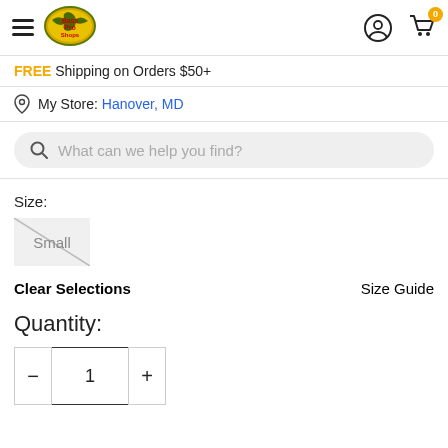[Figure (logo): Bass Pro Shops logo — fish jumping over oval, yellow/green oval with red and yellow text]
FREE Shipping on Orders $50+
My Store: Hanover, MD
What can we help you find?
Size:
Small
Clear Selections
Size Guide
Quantity:
1